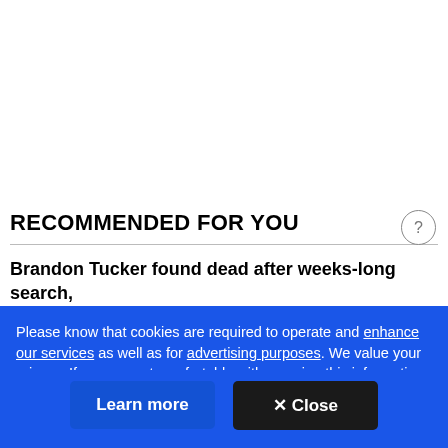RECOMMENDED FOR YOU
Brandon Tucker found dead after weeks-long search,
Please know that cookies are required to operate and enhance our services as well as for advertising purposes. We value your privacy. If you are not comfortable with us using this information, please review your settings before continuing your visit.
Learn more
✕ Close